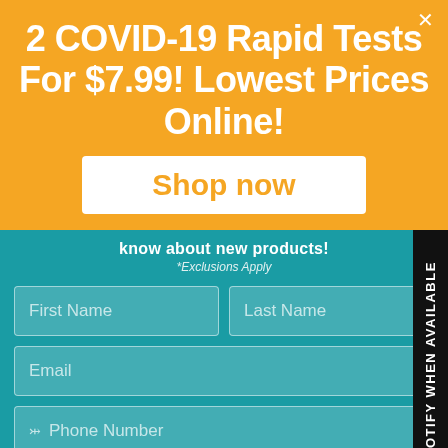2 COVID-19 Rapid Tests For $7.99! Lowest Prices Online!
Shop now
know about new products!
*Exclusions Apply
First Name
Last Name
Email
Phone Number
By entering your phone number and submitting this form, you consent to receive marketing messages (such as promotion codes) from ExpressMed at the number provided. Consent is not a condition of any purchase. Message and data rates may apply. Message frequency varies. You can unsubscribe at any time by replying STOP or clicking the unsubscribe link (where available) in one of our messages. View our Privacy Policy and Terms of Service.
Sign up
NOTIFY WHEN AVAILABLE